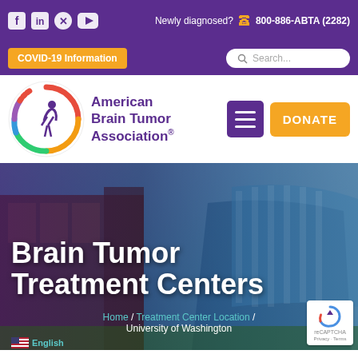Social icons: Facebook, LinkedIn, Twitter, YouTube | Newly diagnosed? 800-886-ABTA (2282)
[Figure (screenshot): COVID-19 Information button (orange) and Search bar on purple background]
[Figure (logo): American Brain Tumor Association circular logo with colorful ring and human figure]
American Brain Tumor Association®
[Figure (screenshot): Purple hamburger menu button and orange DONATE button]
[Figure (photo): Hero image of modern building/treatment center with purple overlay]
Brain Tumor Treatment Centers
Home / Treatment Center Location / University of Washington
[Figure (other): US flag with English language selector and reCAPTCHA badge]